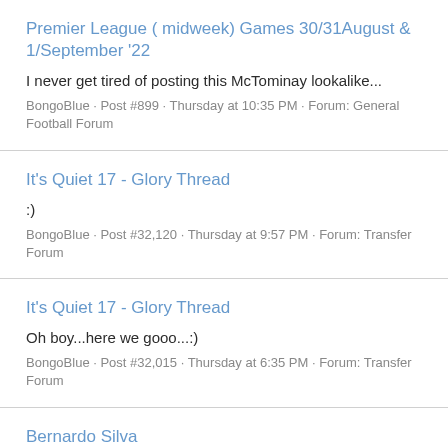Premier League ( midweek) Games 30/31August & 1/September '22
I never get tired of posting this McTominay lookalike...
BongoBlue · Post #899 · Thursday at 10:35 PM · Forum: General Football Forum
It's Quiet 17 - Glory Thread
:)
BongoBlue · Post #32,120 · Thursday at 9:57 PM · Forum: Transfer Forum
It's Quiet 17 - Glory Thread
Oh boy...here we gooo...:)
BongoBlue · Post #32,015 · Thursday at 6:35 PM · Forum: Transfer Forum
Bernardo Silva
Fantastic again today.